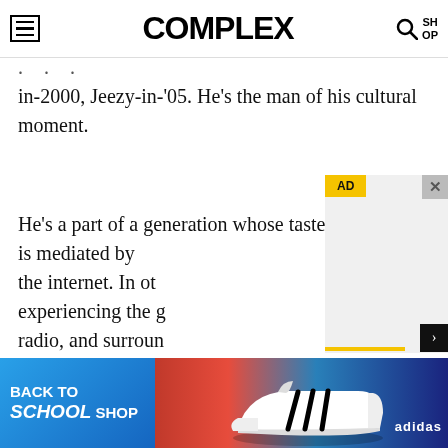COMPLEX
in-2000, Jeezy-in-'05. He's the man of his cultural moment.
He's a part of a generation whose taste is mediated by the internet. In oth… experiencing the g… radio, and surroun… history through im… listens to the Grea… Drake chases hot, … scenes that have e… from Houston's Scr…
rap o… mixt…
[Figure (screenshot): AD overlay box with yellow AD label and close X button, containing a gray advertisement area with a yellow underline bar at the bottom]
[Figure (screenshot): Bottom banner advertisement: BACK TO SCHOOL SHOP with Adidas sneakers image and Adidas logo on blue/red gradient background]